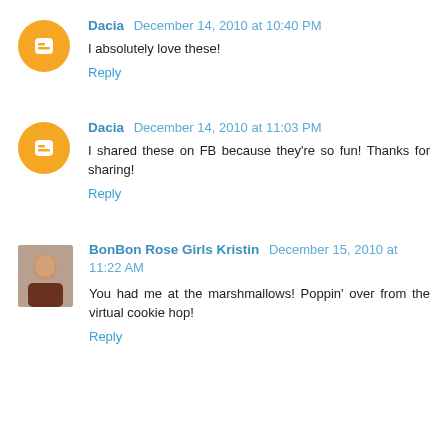Dacia December 14, 2010 at 10:40 PM
I absolutely love these!
Reply
Dacia December 14, 2010 at 11:03 PM
I shared these on FB because they're so fun! Thanks for sharing!
Reply
BonBon Rose Girls Kristin December 15, 2010 at 11:22 AM
You had me at the marshmallows! Poppin' over from the virtual cookie hop!
Reply